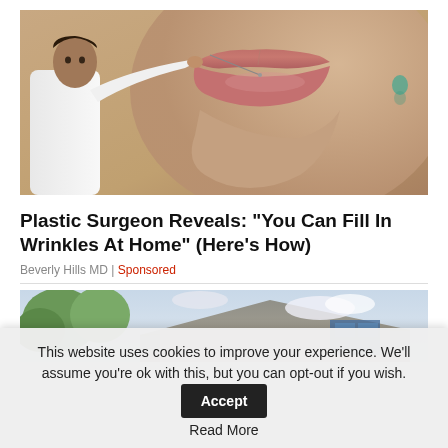[Figure (photo): A plastic surgeon or doctor in a white shirt appears to be injecting or treating the lower face and lips of a woman close-up, with the woman's large lips prominently visible.]
Plastic Surgeon Reveals: “You Can Fill In Wrinkles At Home” (Here’s How)
Beverly Hills MD | Sponsored
[Figure (photo): A house with a grey/taupe roof and trees visible in the background, partially cut off.]
This website uses cookies to improve your experience. We’ll assume you’re ok with this, but you can opt-out if you wish. Accept Read More